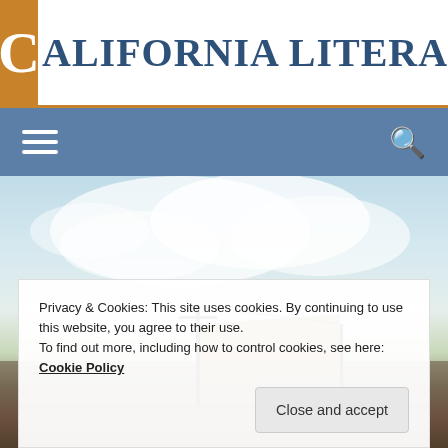California Literary Review
[Figure (illustration): Painting of a landscape with clouds, sky, a mast or cross structure, and a sail or canvas hanging. A wagon or camp scene is partially visible at bottom.]
Privacy & Cookies: This site uses cookies. By continuing to use this website, you agree to their use.
To find out more, including how to control cookies, see here: Cookie Policy
Close and accept